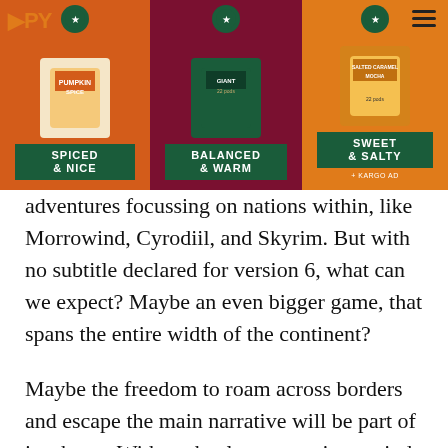[Figure (photo): Advertisement banner showing three Starbucks coffee product displays on colored backgrounds (orange, dark red/maroon, and orange). Each panel shows a Starbucks coffee box with labels: 'SPICED & NICE', 'BALANCED & WARM', 'SWEET & SALTY'. A navigation menu icon is visible at top right, and a partial logo/brand name at top left. A '+ KARGO AD' label appears on the right panel.]
adventures focussing on nations within, like Morrowind, Cyrodiil, and Skyrim. But with no subtitle declared for version 6, what can we expect? Maybe an even bigger game, that spans the entire width of the continent?
Maybe the freedom to roam across borders and escape the main narrative will be part of its charm. With such a long gestation period, one can only hope that it will exceed the heights of Skyrim in story and gameplay.